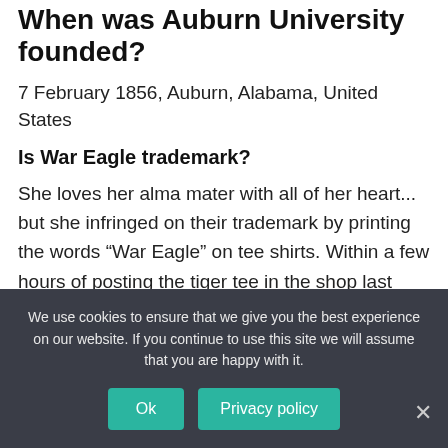When was Auburn University founded?
7 February 1856, Auburn, Alabama, United States
Is War Eagle trademark?
She loves her alma mater with all of her heart... but she infringed on their trademark by printing the words “War Eagle” on tee shirts. Within a few hours of posting the tiger tee in the shop last week someone at Auburn University let me know that
We use cookies to ensure that we give you the best experience on our website. If you continue to use this site we will assume that you are happy with it.